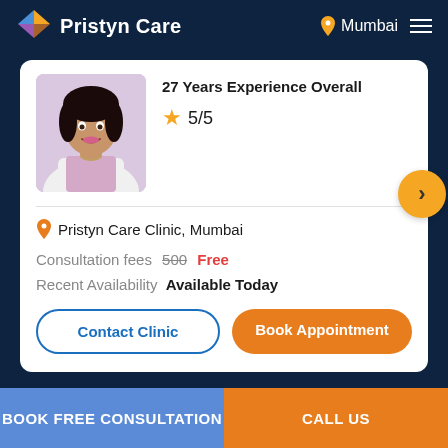Pristyn Care | Mumbai
27 Years Experience Overall
★ 5/5
Pristyn Care Clinic, Mumbai
Consultation fees  500  Free
Recent Availability  Available Today
Contact Clinic
Book Appointment
BOOK FREE CONSULTATION  CALL US